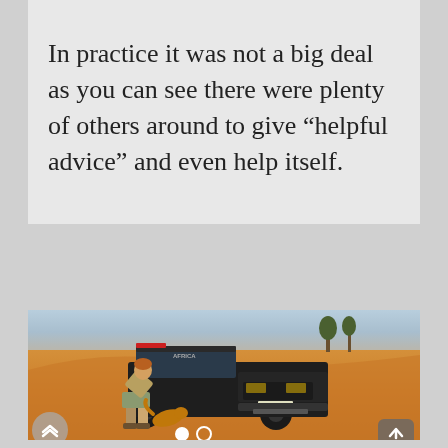In practice it was not a big deal as you can see there were plenty of others around to give “helpful advice” and even help itself.
[Figure (photo): A person bending down to work on the front wheel/tire of a black Land Rover Defender 4x4 vehicle (labeled 'Africa...') stuck in orange desert sand. Sandy desert landscape with scattered trees in background under a hazy sky. Navigation carousel dots and scroll buttons visible at bottom.]